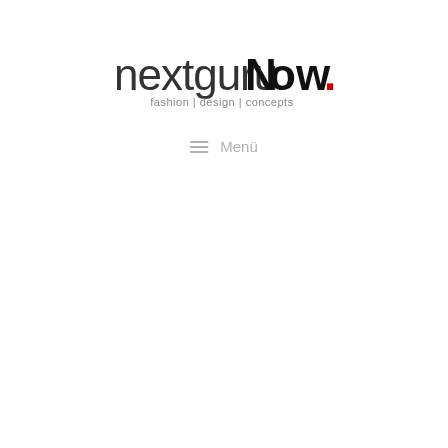[Figure (logo): nextguruNow logo: stylized text 'nextguruNow.' with 'Now' in bold black and a red square dot, subtitle 'fashion | design | concepts' in grey below]
≡  Menü